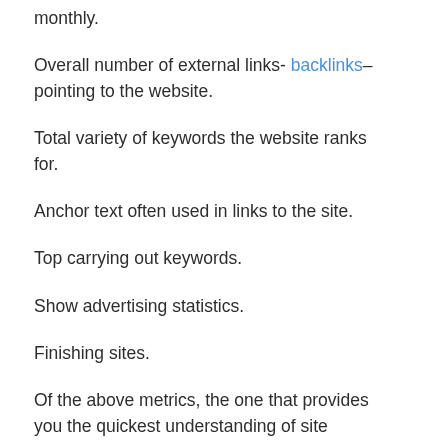monthly.
Overall number of external links- backlinks– pointing to the website.
Total variety of keywords the website ranks for.
Anchor text often used in links to the site.
Top carrying out keywords.
Show advertising statistics.
Finishing sites.
Of the above metrics, the one that provides you the quickest understanding of site